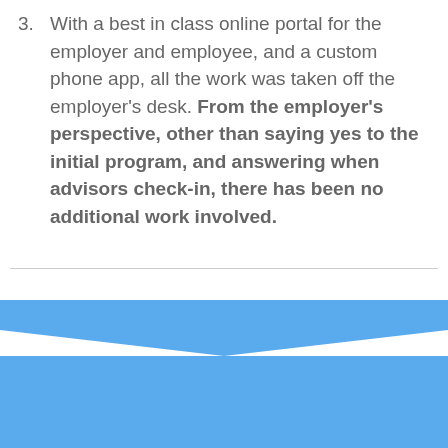3. With a best in class online portal for the employer and employee, and a custom phone app, all the work was taken off the employer’s desk. From the employer’s perspective, other than saying yes to the initial program, and answering when advisors check-in, there has been no additional work involved.
[Figure (infographic): Blue chevron/arrow pointing downward, forming a decorative section divider at the bottom of the page]